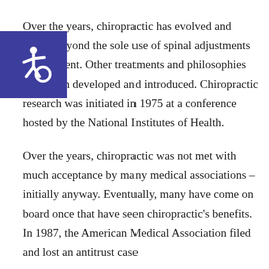[Figure (logo): Accessibility icon — white wheelchair symbol on a blue square background]
Over the years, chiropractic has evolved and grown beyond the sole use of spinal adjustments as treatment. Other treatments and philosophies have been developed and introduced. Chiropractic research was initiated in 1975 at a conference hosted by the National Institutes of Health.
Over the years, chiropractic was not met with much acceptance by many medical associations – initially anyway. Eventually, many have come on board once that have seen chiropractic's benefits. In 1987, the American Medical Association filed and lost an antitrust case